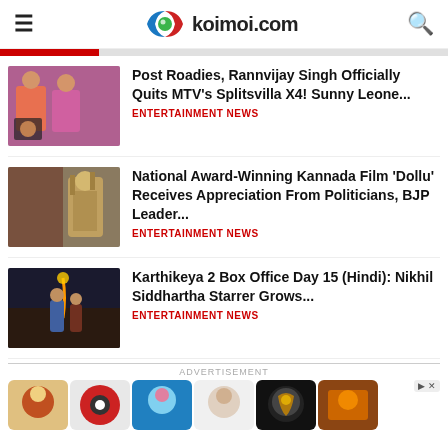koimoi.com
Post Roadies, Rannvijay Singh Officially Quits MTV’s Splitsvilla X4! Sunny Leone... | ENTERTAINMENT NEWS
National Award-Winning Kannada Film ‘Dollu’ Receives Appreciation From Politicians, BJP Leader... | ENTERTAINMENT NEWS
Karthikeya 2 Box Office Day 15 (Hindi): Nikhil Siddhartha Starrer Grows... | ENTERTAINMENT NEWS
ADVERTISEMENT